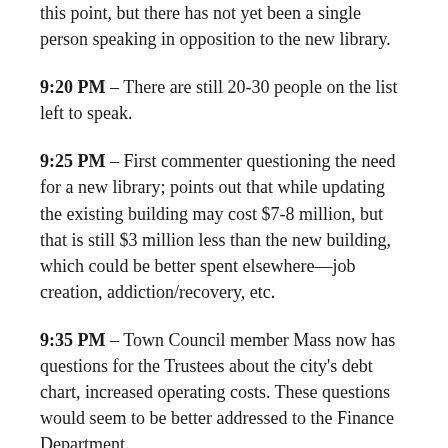this point, but there has not yet been a single person speaking in opposition to the new library.
9:20 PM – There are still 20-30 people on the list left to speak.
9:25 PM – First commenter questioning the need for a new library; points out that while updating the existing building may cost $7-8 million, but that is still $3 million less than the new building, which could be better spent elsewhere—job creation, addiction/recovery, etc.
9:35 PM – Town Council member Mass now has questions for the Trustees about the city's debt chart, increased operating costs. These questions would seem to be better addressed to the Finance Department.
9:42 PM – Alright, folks—that's a wrap. Public comments